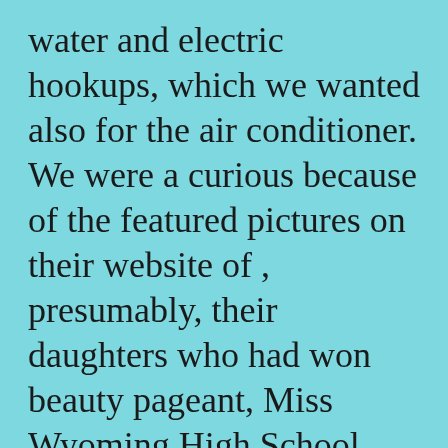water and electric hookups, which we wanted also for the air conditioner. We were a curious because of the featured pictures on their website of , presumably, their daughters who had won beauty pageant, Miss Wyoming High School America and Miss Colorado Royalty International Teen. But no beauty queen sightings there.